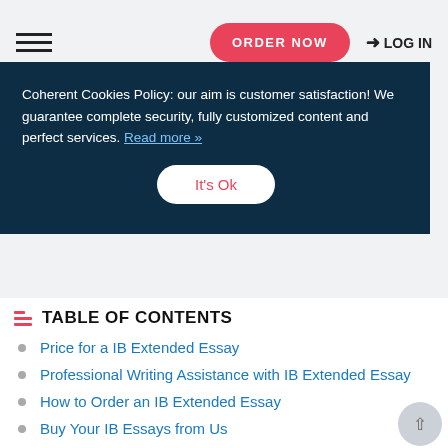ORDER NOW   LOG IN
Coherent Cookies Policy: our aim is customer satisfaction! We guarantee complete security, fully customized content and perfect services. Read more »
It's Ok
TABLE OF CONTENTS
Price for a IB Extended Essay
Professional Writing Assistance with IB Extended Essay
How to Order an IB Extended Essay
Buy Your IB Essays from Us
Benefits of Working with Us
Customer Feedback on the Delivered IB Extended Essays